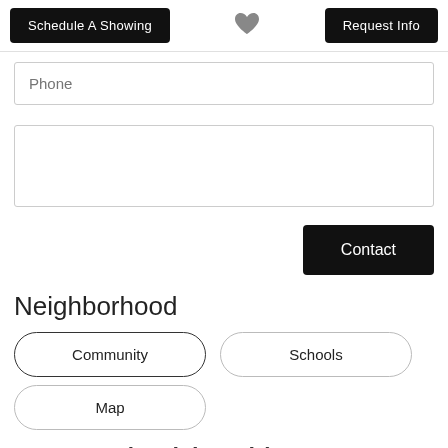Schedule A Showing
[Figure (illustration): Heart/favorite icon in gray]
Request Info
Phone
Message
Contact
Neighborhood
Community
Schools
Map
79423 (Lubbock)